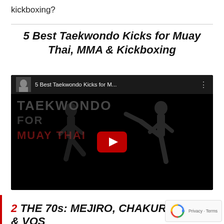kickboxing?
5 Best Taekwondo Kicks for Muay Thai, MMA & Kickboxing
[Figure (screenshot): YouTube video thumbnail showing '5 Best Taekwondo Kicks for M...' with a dark background featuring silhouettes of fighters kicking, text overlays reading TAEKWONDO FOR MUAY THAI, and a red YouTube play button in the center.]
2 THE 70s: MEJIRO, CHAKUR & VOS